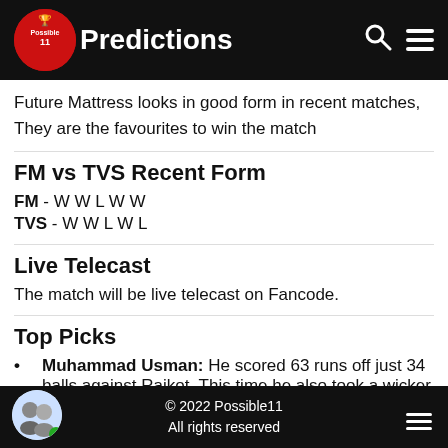W Predictions
Future Mattress looks in good form in recent matches, They are the favourites to win the match
FM vs TVS Recent Form
FM - W W L W W
TVS - W W L W L
Live Telecast
The match will be live telecast on Fancode.
Top Picks
Muhammad Usman: He scored 63 runs off just 34 balls against Rajkot. This time he also took a wicker while conceding just 22 runs.
© 2022 Possible11
All rights reserved